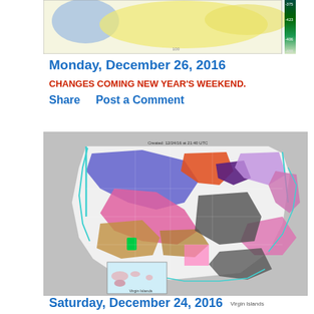[Figure (map): Upper weather map showing temperature anomaly or forecast map for US region with blue, yellow regions and color legend bar on right]
Monday, December 26, 2016
CHANGES COMING NEW YEAR'S WEEKEND.
Share     Post a Comment
[Figure (map): NWS weather map of the United States showing winter weather advisories and warnings for December 24 2016, with colored regions indicating snow, wind, and other hazards. Created 12/24/16 at 21:40 UTC. Includes inset for Virgin Islands.]
Virgin Islands
Saturday, December 24, 2016
SNOW FOR SOME AREAS OF NM THIS CHRISTMAS - AND THE WIND WILL HOWL CHRISTMAS DAY!